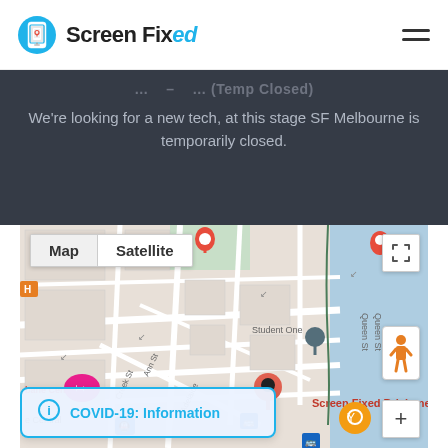Screen Fixed
We're looking for a new tech, at this stage SF Melbourne is temporarily closed.
[Figure (map): Google Maps embed showing Brisbane city area with Screen Fixed Brisbane marker, map/satellite toggle, fullscreen button, street view person button, plus button, and COVID-19 Information banner overlay. Shows Student One, Brisbane Central, Ann St, Creek St, Adelaide St, Queen St labels.]